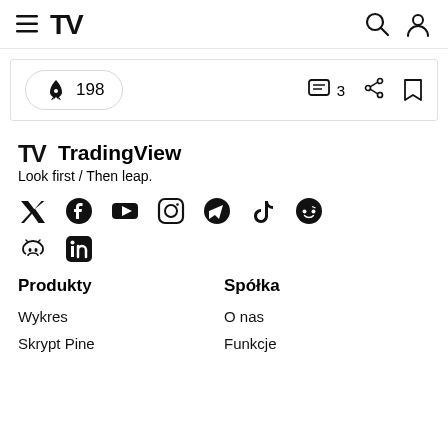TradingView navigation bar with hamburger menu, TV logo, search and user icons
🚀 198  💬 3  share  bookmark
TradingView  Look first / Then leap.
[Figure (other): Row of social media icons: Twitter, Facebook, YouTube, Instagram, Telegram, TikTok, Reddit, Discord, LinkedIn]
Produkty
Spółka
Wykres
O nas
Skrypt Pine
Funkcje